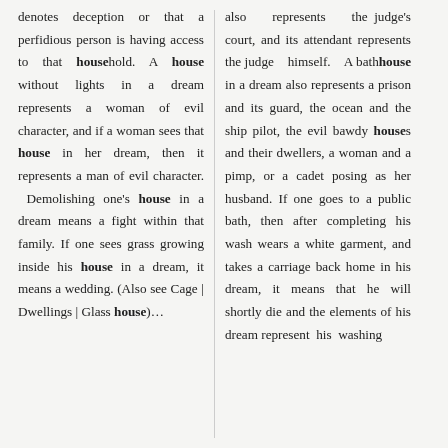denotes deception or that a perfidious person is having access to that household. A house without lights in a dream represents a woman of evil character, and if a woman sees that house in her dream, then it represents a man of evil character. Demolishing one's house in a dream means a fight within that family. If one sees grass growing inside his house in a dream, it means a wedding. (Also see Cage | Dwellings | Glass house)…
also represents the judge's court, and its attendant represents the judge himself. A bathhouse in a dream also represents a prison and its guard, the ocean and the ship pilot, the evil bawdy houses and their dwellers, a woman and a pimp, or a cadet posing as her husband. If one goes to a public bath, then after completing his wash wears a white garment, and takes a carriage back home in his dream, it means that he will shortly die and the elements of his dream represent his washing